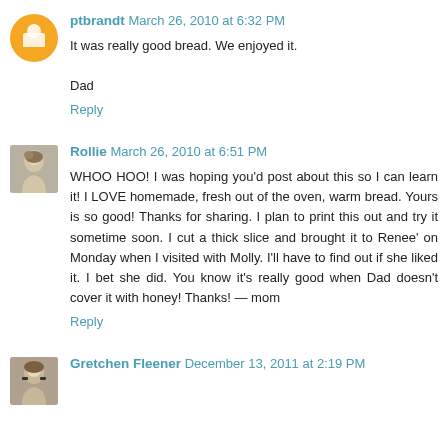ptbrandt  March 26, 2010 at 6:32 PM
It was really good bread. We enjoyed it.

Dad
Reply
Rollie  March 26, 2010 at 6:51 PM
WHOO HOO! I was hoping you'd post about this so I can learn it! I LOVE homemade, fresh out of the oven, warm bread. Yours is so good! Thanks for sharing. I plan to print this out and try it sometime soon. I cut a thick slice and brought it to Renee' on Monday when I visited with Molly. I'll have to find out if she liked it. I bet she did. You know it's really good when Dad doesn't cover it with honey! Thanks! — mom
Reply
Gretchen Fleener  December 13, 2011 at 2:19 PM